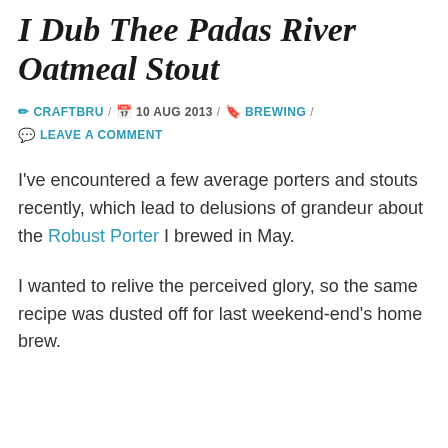I Dub Thee Padas River Oatmeal Stout
✏ CRAFTBRU / 🗓 10 AUG 2013 / 🔖 BREWING / 💬 LEAVE A COMMENT
I've encountered a few average porters and stouts recently, which lead to delusions of grandeur about the Robust Porter I brewed in May.
I wanted to relive the perceived glory, so the same recipe was dusted off for last weekend-end's home brew.